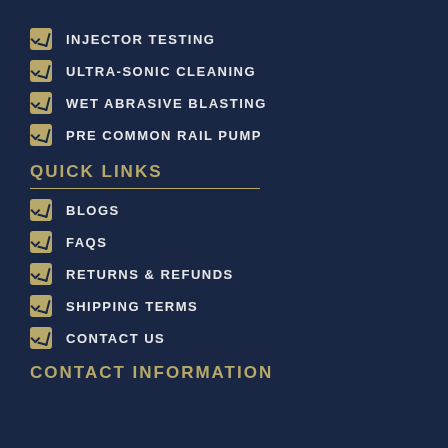INJECTOR TESTING
ULTRA-SONIC CLEANING
WET ABRASIVE BLASTING
PRE COMMON RAIL PUMP
QUICK LINKS
BLOGS
FAQS
RETURNS & REFUNDS
SHIPPING TERMS
CONTACT US
CONTACT INFORMATION